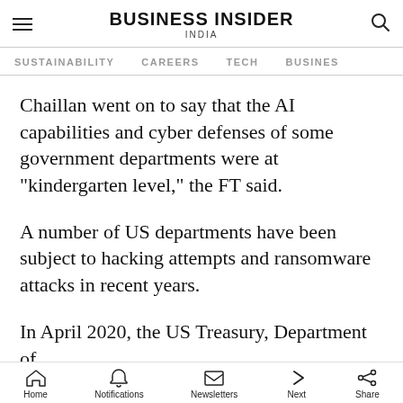BUSINESS INSIDER INDIA
SUSTAINABILITY   CAREERS   TECH   BUSINESS
Chaillan went on to say that the AI capabilities and cyber defenses of some government departments were at "kindergarten level," the FT said.
A number of US departments have been subject to hacking attempts and ransomware attacks in recent years.
In April 2020, the US Treasury, Department of
Home   Notifications   Newsletters   Next   Share